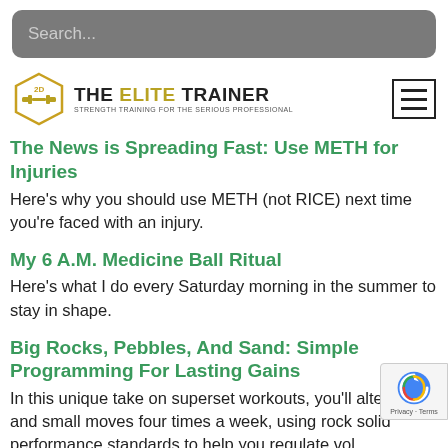Search...
[Figure (logo): The Elite Trainer logo with dumbbell icon and text 'THE ELITE TRAINER - Strength Training for the Serious Professional']
The News is Spreading Fast: Use METH for Injuries
Here's why you should use METH (not RICE) next time you're faced with an injury.
My 6 A.M. Medicine Ball Ritual
Here's what I do every Saturday morning in the summer to stay in shape.
Big Rocks, Pebbles, And Sand: Simple Programming For Lasting Gains
In this unique take on superset workouts, you'll alter big and small moves four times a week, using rock solid performance standards to help you regulate vol and exercise selection. This is how to train for t haul!